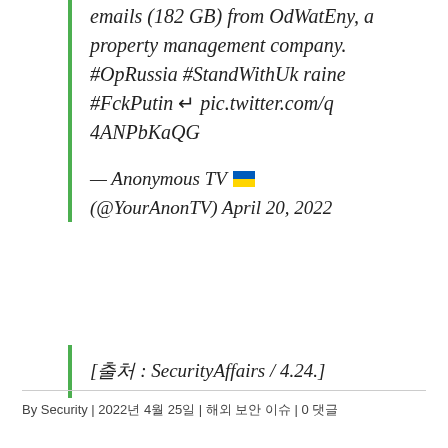emails (182 GB) from OdWatEny, a property management company. #OpRussia #StandWithUkraine #FckPutin ↵ pic.twitter.com/q4ANPbKaQG
— Anonymous TV 🇺🇦 (@YourAnonTV) April 20, 2022
[출처 : SecurityAffairs / 4.24.]
By Security | 2022년 4월 25일 | 해외 보안 이슈 | 0 댓글